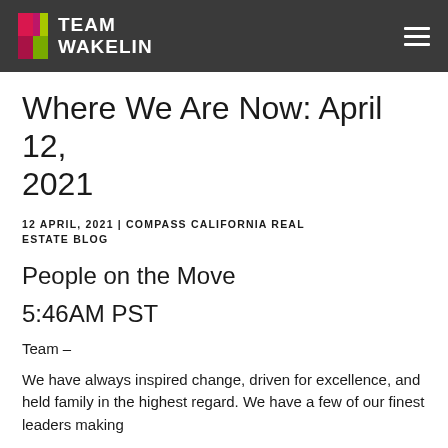TEAM WAKELIN
Where We Are Now: April 12, 2021
12 APRIL, 2021 | COMPASS CALIFORNIA REAL ESTATE BLOG
People on the Move
5:46AM PST
Team –
We have always inspired change, driven for excellence, and held family in the highest regard. We have a few of our finest leaders making